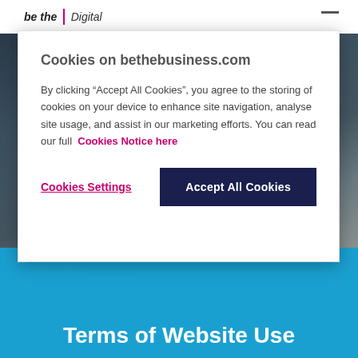[Figure (screenshot): Website screenshot showing bethebusiness.com navigation bar at top with 'be the | Digital' logo and a horizontal dash icon on the right. Below the nav is a dark photographic background showing food/drinks imagery. Bottom third has a bright blue diagonal section.]
Cookies on bethebusiness.com
By clicking “Accept All Cookies”, you agree to the storing of cookies on your device to enhance site navigation, analyse site usage, and assist in our marketing efforts. You can read our full Cookies Notice here
Cookies Settings
Accept All Cookies
Terms of Website Use